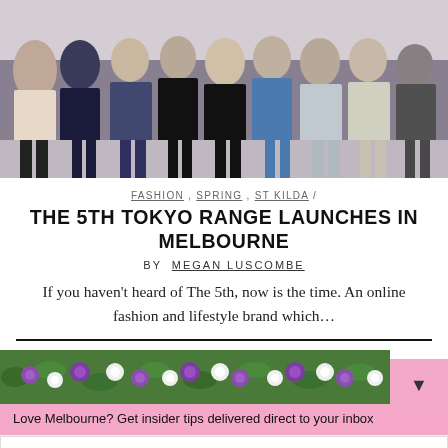[Figure (photo): Crowd of people at a fashion event, photographed from the front, showing attendees standing close together in various outfits.]
FASHION , SPRING , ST KILDA /
THE 5TH TOKYO RANGE LAUNCHES IN MELBOURNE
BY MEGAN LUSCOMBE
If you haven't heard of The 5th, now is the time. An online fashion and lifestyle brand which...
[Figure (photo): Strip image of purple, white and green flowers/floral arrangement.]
Love Melbourne? Get insider tips delivered direct to your inbox
Your email address..
SUBSCRIBE